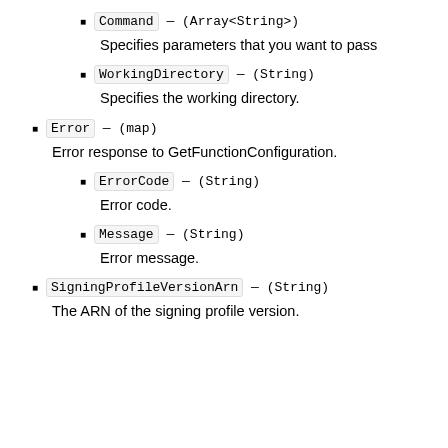Command — (Array<String>)
Specifies parameters that you want to pass
WorkingDirectory — (String)
Specifies the working directory.
Error — (map)
Error response to GetFunctionConfiguration.
ErrorCode — (String)
Error code.
Message — (String)
Error message.
SigningProfileVersionArn — (String)
The ARN of the signing profile version.